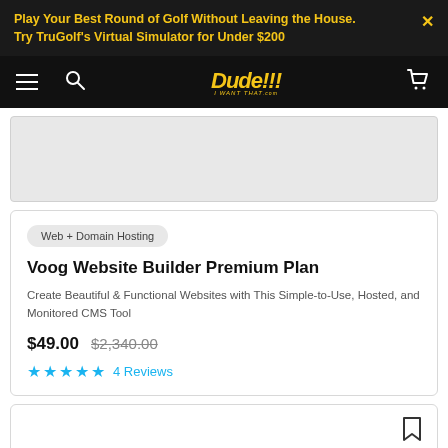Play Your Best Round of Golf Without Leaving the House. Try TruGolf's Virtual Simulator for Under $200
[Figure (screenshot): Navigation bar with hamburger menu, search icon, Dude!!! I Want That logo, and cart icon on black background]
[Figure (photo): Gray placeholder image area for product]
Web + Domain Hosting
Voog Website Builder Premium Plan
Create Beautiful & Functional Websites with This Simple-to-Use, Hosted, and Monitored CMS Tool
$49.00  $2,340.00
★★★★★  4 Reviews
[Figure (photo): Partial bottom product card with bookmark icon]